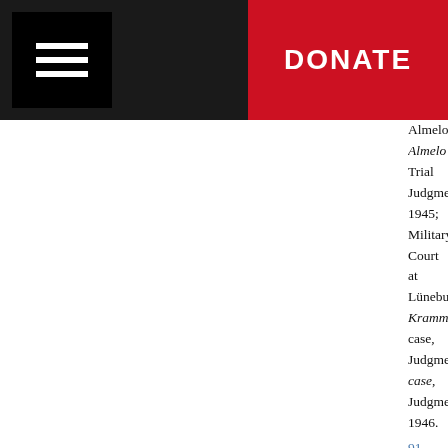Header bar with menu and DONATE button
Almelo, Almelo Trial Judgment, 1945; Military Court at Lüneburg, Krammer case, Judgment, case, Judgment, 1946.
91 - For murder and wilful killing as a grave breach, para. 345, and Brdanin Trial Judgment, 2004, para. 789. For examples of murder as a war crime, Delalic Trial Judgment, 1998, para. 422, and Župljanin Trial Judgment, 2013, para. 42; Tolimir Judgment, 2010, para. 787; Lukić and Lukić Trial Judgment, 2009, para. 136; Martić Trial Judgment, 2005, para. 556; ICC, Katanga Trial Judgment, 2016, paras 91–97; and ECCC, Nu
92 - For examples, see ICTY, Delalic Trial Judgment, 2001, para. 229; Tolimir Trial Judgment, 2012, para. 427; Đorđević Trial Judgment, 2012; Lukić and Lukić Trial Judgment, 2009, para. 9; Judgment, 2006, para. 347; SCSL, Brima Trial Judgment, 2010, para. 331. This principle was case, where the Court of Bosnia and Herzegovina having participated substantially in the murder; see Andrun case, Verdict, 2009, pp. 22–26.